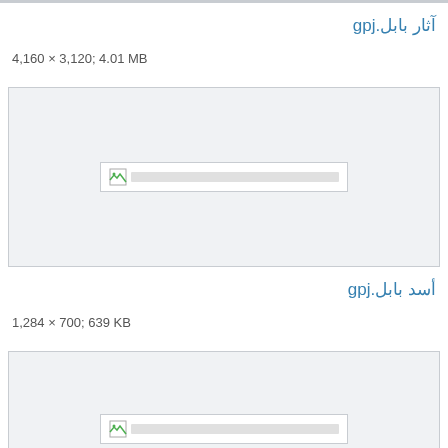آثار بابل.jpg
4,160 × 3,120; 4.01 MB
[Figure (photo): Placeholder thumbnail box with broken image icon for آثار بابل.jpg]
أسد بابل.jpg
1,284 × 700; 639 KB
[Figure (photo): Placeholder thumbnail box with broken image icon for أسد بابل.jpg]